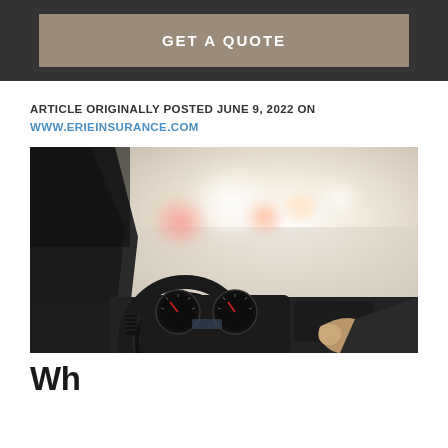GET A QUOTE
ARTICLE ORIGINALLY POSTED JUNE 9, 2022 ON
WWW.ERIEINSURANCE.COM
[Figure (photo): Interior view of a car from driver perspective showing steering wheel, dashboard gauges, and blurred road ahead with other vehicles in foggy/bright conditions]
Wh...